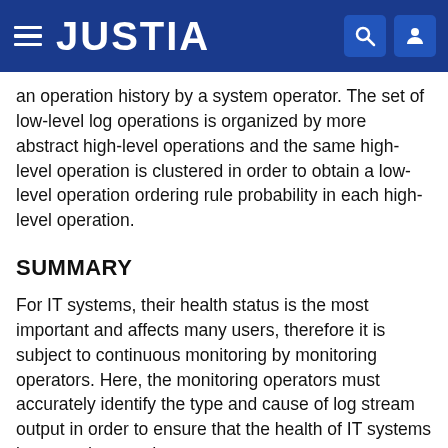JUSTIA
an operation history by a system operator. The set of low-level log operations is organized by more abstract high-level operations and the same high-level operation is clustered in order to obtain a low-level operation ordering rule probability in each high-level operation.
SUMMARY
For IT systems, their health status is the most important and affects many users, therefore it is subject to continuous monitoring by monitoring operators. Here, the monitoring operators must accurately identify the type and cause of log stream output in order to ensure that the health of IT systems is not endangered.
Although most of the log stream output is generated by log events that do not endanger the health of the IT